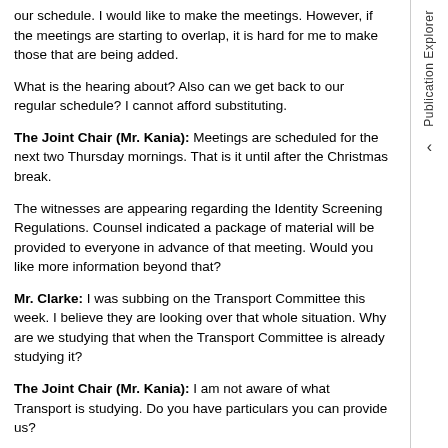our schedule. I would like to make the meetings. However, if the meetings are starting to overlap, it is hard for me to make those that are being added.
What is the hearing about? Also can we get back to our regular schedule? I cannot afford substituting.
The Joint Chair (Mr. Kania): Meetings are scheduled for the next two Thursday mornings. That is it until after the Christmas break.
The witnesses are appearing regarding the Identity Screening Regulations. Counsel indicated a package of material will be provided to everyone in advance of that meeting. Would you like more information beyond that?
Mr. Clarke: I was subbing on the Transport Committee this week. I believe they are looking over that whole situation. Why are we studying that when the Transport Committee is already studying it?
The Joint Chair (Mr. Kania): I am not aware of what Transport is studying. Do you have particulars you can provide us?